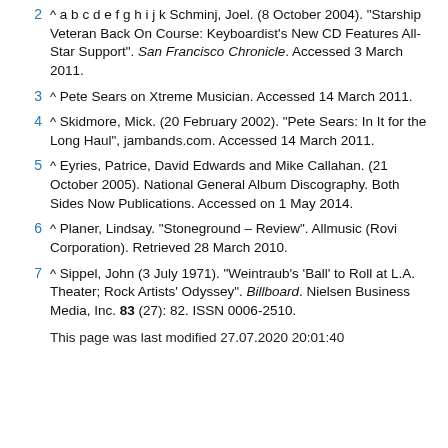2 ^ a b c d e f g h i j k Schminj, Joel. (8 October 2004). "Starship Veteran Back On Course: Keyboardist's New CD Features All-Star Support". San Francisco Chronicle. Accessed 3 March 2011.
3 ^ Pete Sears on Xtreme Musician. Accessed 14 March 2011.
4 ^ Skidmore, Mick. (20 February 2002). "Pete Sears: In It for the Long Haul", jambands.com. Accessed 14 March 2011.
5 ^ Eyries, Patrice, David Edwards and Mike Callahan. (21 October 2005). National General Album Discography. Both Sides Now Publications. Accessed on 1 May 2014.
6 ^ Planer, Lindsay. "Stoneground – Review". Allmusic (Rovi Corporation). Retrieved 28 March 2010.
7 ^ Sippel, John (3 July 1971). "Weintraub's 'Ball' to Roll at L.A. Theater; Rock Artists' Odyssey". Billboard. Nielsen Business Media, Inc. 83 (27): 82. ISSN 0006-2510.
This page was last modified 27.07.2020 20:01:40